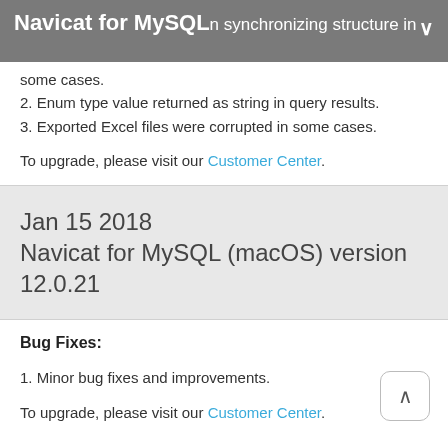Navicat for MySQL — ...n synchronizing structure in some cases.
2. Enum type value returned as string in query results.
3. Exported Excel files were corrupted in some cases.
To upgrade, please visit our Customer Center.
Jan 15 2018
Navicat for MySQL (macOS) version 12.0.21
Bug Fixes:
1. Minor bug fixes and improvements.
To upgrade, please visit our Customer Center.